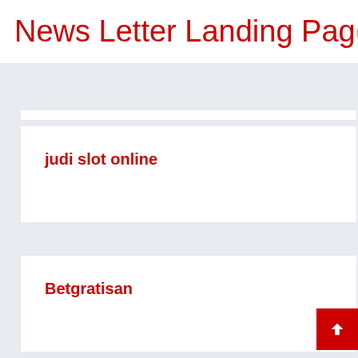News Letter Landing Page
judi slot online
Betgratisan
pengeluaran sgp